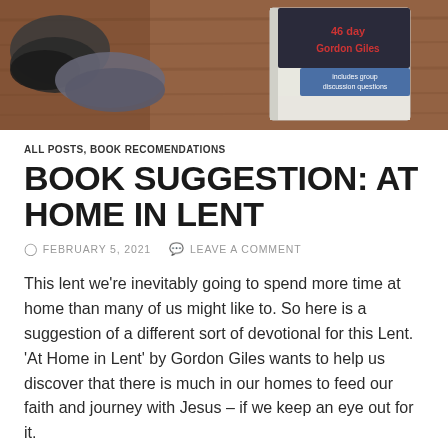[Figure (photo): Photo of a book on a wooden table showing shoes or boots and a book cover with text '46 day', 'Gordon Giles', and 'includes group discussion questions' on a blue banner]
ALL POSTS, BOOK RECOMENDATIONS
BOOK SUGGESTION: AT HOME IN LENT
FEBRUARY 5, 2021   LEAVE A COMMENT
This lent we're inevitably going to spend more time at home than many of us might like to. So here is a suggestion of a different sort of devotional for this Lent. 'At Home in Lent' by Gordon Giles wants to help us discover that there is much in our homes to feed our faith and journey with Jesus – if we keep an eye out for it.
Through 46 normal, mundane objects and places many of us